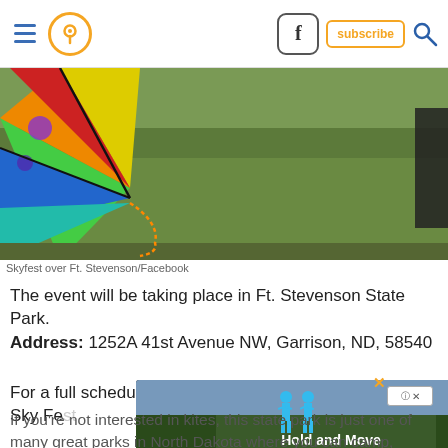Navigation bar with hamburger menu, location icon, Facebook button, subscribe button, search icon
[Figure (photo): Photo of a colorful kite on the left foreground with green grass field background, and a person partially visible on the right edge. Skyfest over Ft. Stevenson State Park.]
Skyfest over Ft. Stevenson/Facebook
The event will be taking place in Ft. Stevenson State Park.
Address: 1252A 41st Avenue NW, Garrison, ND, 58540
For a full schedule of events and more information about Sky Fest website.
[Figure (screenshot): Ad overlay showing a dark background with silhouette figures and text 'Hold and Move', with a close X button in orange and an ad info box]
If you're not interested in kites, this state park is just one of many great parks in North Dakota where you can camp,